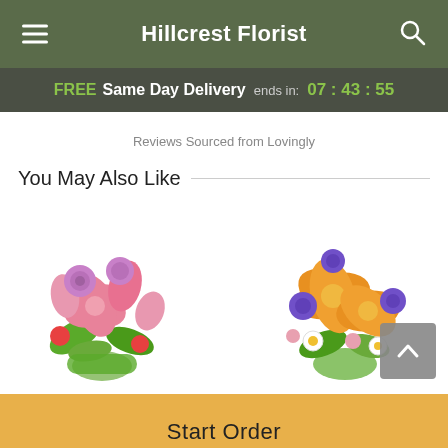Hillcrest Florist
FREE Same Day Delivery ends in: 07 : 43 : 55
Reviews Sourced from Lovingly
You May Also Like
[Figure (photo): Pink flower bouquet with lilies, tulips, and roses]
[Figure (photo): Orange and purple flower bouquet with lilies and daisies]
Start Order